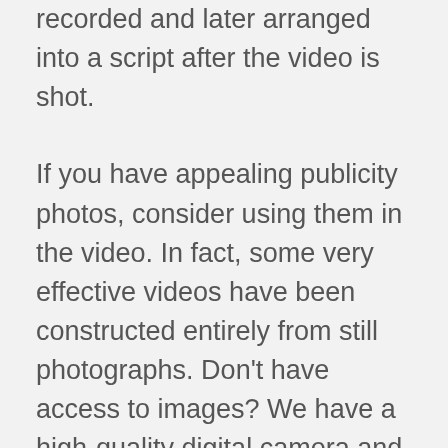recorded and later arranged into a script after the video is shot.
If you have appealing publicity photos, consider using them in the video. In fact, some very effective videos have been constructed entirely from still photographs. Don't have access to images? We have a high-quality digital camera and a professional photographer that can capture great still photos if desired.
When considering international distribution, understand that it's a lot easier and cheaper to produce a foreign language version than the English version since it uses an off-camera narrator and